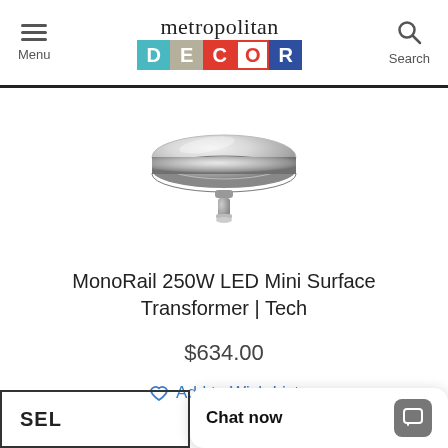metropolitan DECOR — Menu | Search
[Figure (photo): A brushed nickel round surface mount transformer canopy with a small connector pin at the bottom, viewed from below at an angle, on a white background.]
MonoRail 250W LED Mini Surface Transformer | Tech
$634.00
Add to Wish List
Chat now
SEL